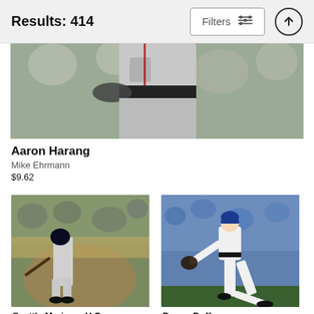Results: 414
[Figure (photo): Cropped baseball photo showing a player in gray uniform, torso and waist area with crowd bokeh background]
Aaron Harang
Mike Ehrmann
$9.62
[Figure (photo): Seattle Mariners player batting at a baseball game, stadium crowd in background]
Seattle Mariners V O...
Thearon W. Henderson
[Figure (photo): Danny Duffy pitching in Kansas City Royals white uniform, in full wind-up against crowd background]
Danny Duffy
Ed Zurga